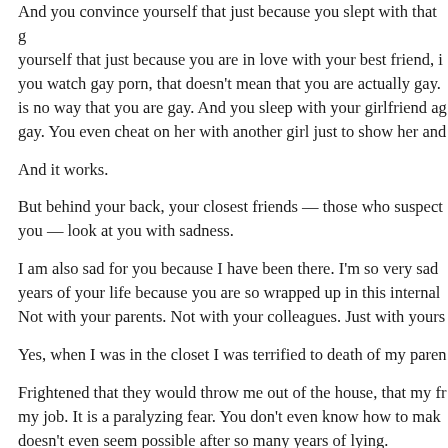And you convince yourself that just because you slept with that guy, just because you convince yourself that just because you are in love with your best friend, it doesn't mean anything. And you watch gay porn, that doesn't mean that you are actually gay. There is no way that you are gay. And you sleep with your girlfriend again just to prove that you aren't gay. You even cheat on her with another girl just to show her and yourself that you aren't gay.
And it works.
But behind your back, your closest friends — those who suspect the truth about you — look at you with sadness.
I am also sad for you because I have been there. I'm so very sad that you are wasting years of your life because you are so wrapped up in this internal fight. Not with your parents. Not with your colleagues. Just with yourself.
Yes, when I was in the closet I was terrified to death of my parents.
Frightened that they would throw me out of the house, that my friends would leave, I'd lose my job. It is a paralyzing fear. You don't even know how to make the first step. It doesn't even seem possible after so many years of lying.
And you are worried that you will be disappointing everyone; that they will feel that they didn't understand you. Coming out of the closet is a pro